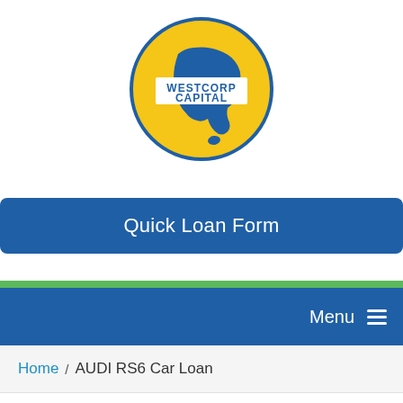[Figure (logo): Westcorp Capital logo — circular badge with yellow background, blue outline, map of Australia in blue, white banner across the middle reading WESTCORP CAPITAL in blue letters]
[Figure (other): Quick Loan Form button — dark blue rounded rectangle button with white text]
Menu ☰
Home / AUDI RS6 Car Loan